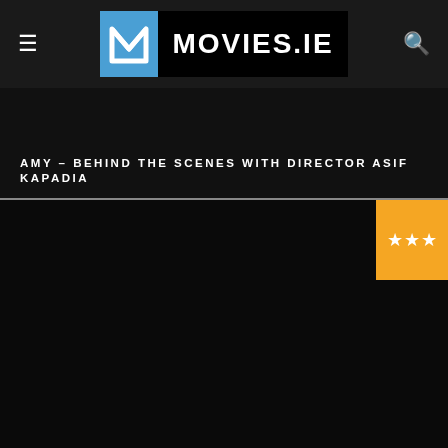MOVIES.IE
AMY – BEHIND THE SCENES WITH DIRECTOR ASIF KAPADIA
[Figure (screenshot): Dark black background lower section of webpage with orange star rating badge (3 stars) in top-right corner]
[Figure (logo): Movies.ie logo — blue M icon on left, MOVIES.IE text in white on black background]